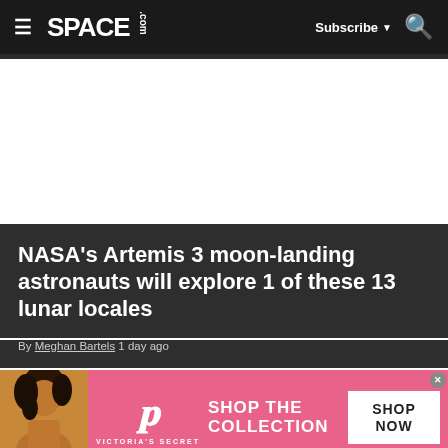SPACE.com — Subscribe — Search (navbar)
NASA's Artemis 3 moon-landing astronauts will explore 1 of these 13 lunar locales
By Meghan Bartels 1 day ago
[Figure (photo): Victoria's Secret advertisement banner with model, VS logo, 'SHOP THE COLLECTION' text, and 'SHOP NOW' button on pink background]